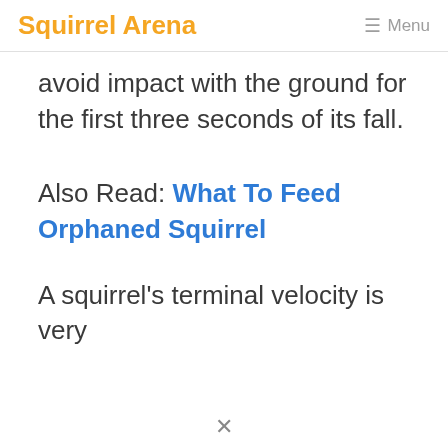Squirrel Arena  ☰ Menu
avoid impact with the ground for the first three seconds of its fall.
Also Read: What To Feed Orphaned Squirrel
A squirrel's terminal velocity is very